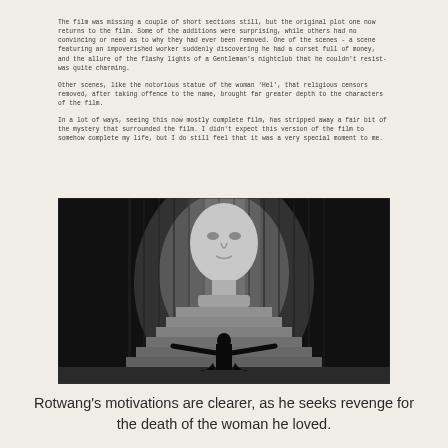The film was missing a couple of short sections still, but the original plot one now returns to the film. Some of the additions were surprising, while others had no convincing or need as to why they had ever been removed. One of the scenes - a scene featuring an impoverished worker suddenly discovering he had a corset full of money, and the allure of the flashy lights of a Gentleman's nightclub that he couldn't resist- was quite charming.

Other scenes, like the notorious statue of the woman 'Hel', that religious censors removed, after taking offence to the name, brought far greater depth to the characters of the film.

In a lot of ways, seeing this now mostly complete film, has stripped away a fair bit of the mystery that surrounded the film. I didn't expect this version of the film to somehow complete my life, but I do still feel that it was a very special moment to me.
[Figure (photo): Black and white still from Metropolis showing a silhouetted figure with arms outstretched before a large face/head sculpture, dramatically lit from behind]
Rotwang's motivations are clearer, as he seeks revenge for the death of the woman he loved.